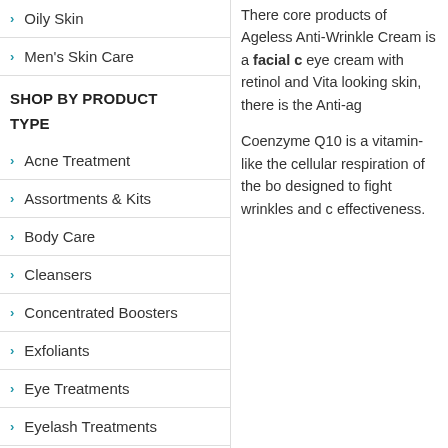Oily Skin
Men's Skin Care
SHOP BY PRODUCT
TYPE
Acne Treatment
Assortments & Kits
Body Care
Cleansers
Concentrated Boosters
Exfoliants
Eye Treatments
Eyelash Treatments
Moisturizers
Hair Care
There core products of Ageless Anti-Wrinkle Cream is a facial c eye cream with retinol and Vita looking skin, there is the Anti-ag
Coenzyme Q10 is a vitamin-like the cellular respiration of the bo designed to fight wrinkles and c effectiveness.